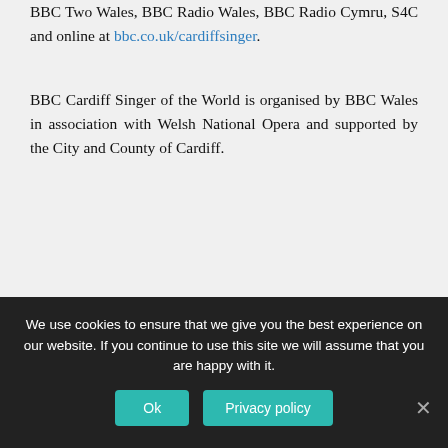BBC Two Wales, BBC Radio Wales, BBC Radio Cymru, S4C and online at bbc.co.uk/cardiffsinger.
BBC Cardiff Singer of the World is organised by BBC Wales in association with Welsh National Opera and supported by the City and County of Cardiff.
More details about BBC Cardiff Singer of the World can be found at bbc.co.uk/cardiffsinger
Catriona Morison
Catriona was born in Edinburgh into a musical
We use cookies to ensure that we give you the best experience on our website. If you continue to use this site we will assume that you are happy with it.